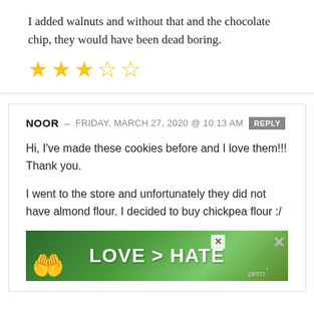I added walnuts and without that and the chocolate chip, they would have been dead boring.
[Figure (other): 3 out of 5 stars rating — three filled yellow stars and two empty yellow stars]
NOOR — FRIDAY, MARCH 27, 2020 @ 10:13 AM  REPLY
Hi, I've made these cookies before and I love them!!! Thank you.
I went to the store and unfortunately they did not have almond flour. I decided to buy chickpea flour :/
[Figure (photo): Advertisement banner showing hands forming a heart shape with text LOVE > HATE on a green background]